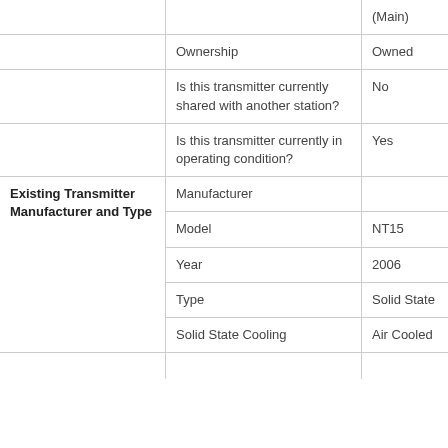|  |  | (Main) |
| --- | --- | --- |
|  | Ownership | Owned |
|  | Is this transmitter currently shared with another station? | No |
|  | Is this transmitter currently in operating condition? | Yes |
| Existing Transmitter Manufacturer and Type | Manufacturer |  |
|  | Model | NT15 |
|  | Year | 2006 |
|  | Type | Solid State |
|  | Solid State Cooling | Air Cooled |